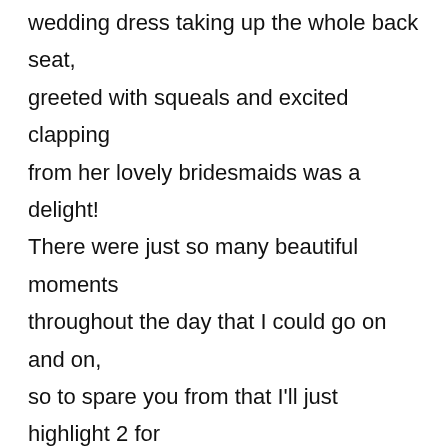wedding dress taking up the whole back seat, greeted with squeals and excited clapping from her lovely bridesmaids was a delight! There were just so many beautiful moments throughout the day that I could go on and on, so to spare you from that I'll just highlight 2 for me which stood out – the fact that Anna designed her own Wedding dress and it looked THAT good!!! A-maz-ing!!! And when Dan said to Anna during his speech that you don't marry the person you can live with, but the person you can't imagine living without...{and yes I was having a bit of trouble capturing those moments whilst trying to disguise the tears!